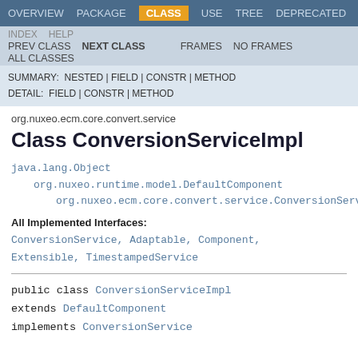OVERVIEW  PACKAGE  CLASS  USE  TREE  DEPRECATED
INDEX  HELP  PREV CLASS  NEXT CLASS  FRAMES  NO FRAMES  ALL CLASSES
SUMMARY: NESTED | FIELD | CONSTR | METHOD  DETAIL: FIELD | CONSTR | METHOD
org.nuxeo.ecm.core.convert.service
Class ConversionServiceImpl
java.lang.Object
    org.nuxeo.runtime.model.DefaultComponent
        org.nuxeo.ecm.core.convert.service.ConversionServi...
All Implemented Interfaces:
ConversionService, Adaptable, Component, Extensible, TimestampedService
public class ConversionServiceImpl
extends DefaultComponent
implements ConversionService